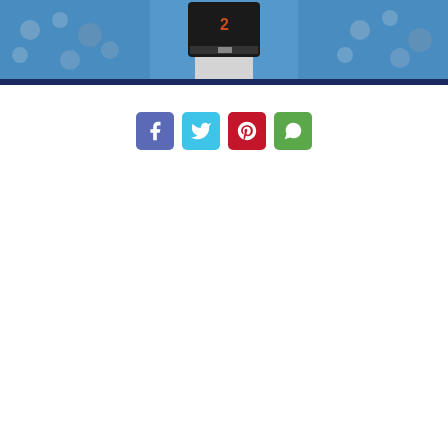[Figure (photo): Baseball pitcher in black jersey and gray pants mid-pitch, with blue stadium crowd in background]
[Figure (infographic): Four social media share buttons in a row: Facebook (purple-blue), Twitter (light blue), Pinterest (red), WhatsApp (green), each showing the respective platform icon in white on a colored rounded square button]